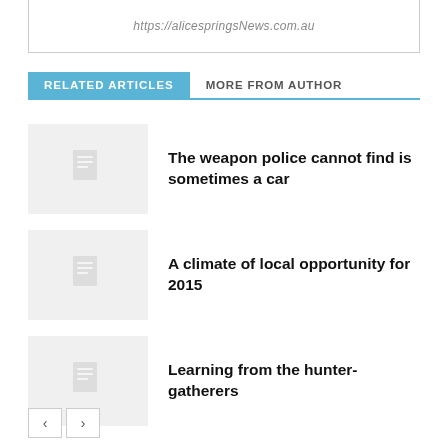https://alicespringsNews.com.au
RELATED ARTICLES | MORE FROM AUTHOR
The weapon police cannot find is sometimes a car
A climate of local opportunity for 2015
Learning from the hunter-gatherers